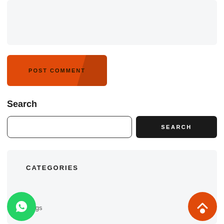[Figure (screenshot): Light gray text input box area at the top of the page]
POST COMMENT
Search
[Figure (screenshot): Search input field (white box with dark border and rounded corners) and a dark SEARCH button]
CATEGORIES
Blogs
[Figure (logo): WhatsApp icon (green circle with phone/chat symbol) in bottom left]
[Figure (other): Orange circle chat/back-to-top button in bottom right]